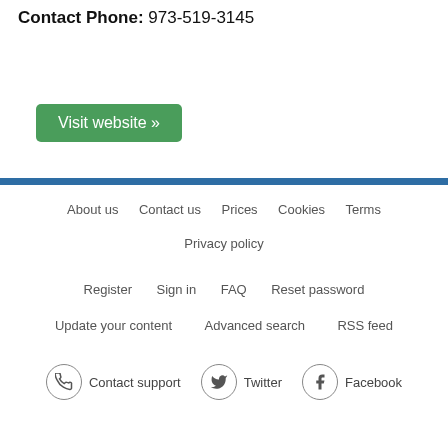Contact Phone: 973-519-3145
Visit website »
About us  Contact us  Prices  Cookies  Terms  Privacy policy  Register  Sign in  FAQ  Reset password  Update your content  Advanced search  RSS feed  Contact support  Twitter  Facebook